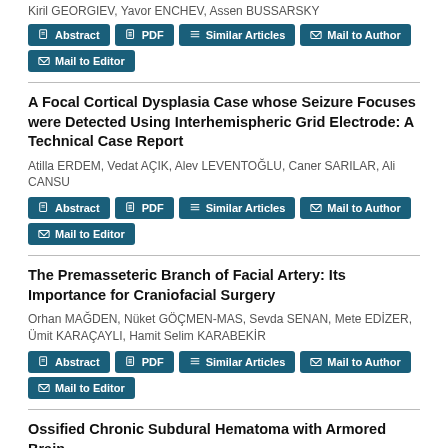Kiril GEORGIEV, Yavor ENCHEV, Assen BUSSARSKY
Abstract | PDF | Similar Articles | Mail to Author | Mail to Editor
A Focal Cortical Dysplasia Case whose Seizure Focuses were Detected Using Interhemispheric Grid Electrode: A Technical Case Report
Atilla ERDEM, Vedat AÇIK, Alev LEVENTOĞLU, Caner SARILAR, Ali CANSU
Abstract | PDF | Similar Articles | Mail to Author | Mail to Editor
The Premasseteric Branch of Facial Artery: Its Importance for Craniofacial Surgery
Orhan MAĞDEN, Nüket GÖÇMEN-MAS, Sevda SENAN, Mete EDİZER, Ümit KARAÇAYLI, Hamit Selim KARABEKİR
Abstract | PDF | Similar Articles | Mail to Author | Mail to Editor
Ossified Chronic Subdural Hematoma with Armored Brain
Metin KAPLAN, Bekir AKGÜN, Halil İbrahim SEÇER